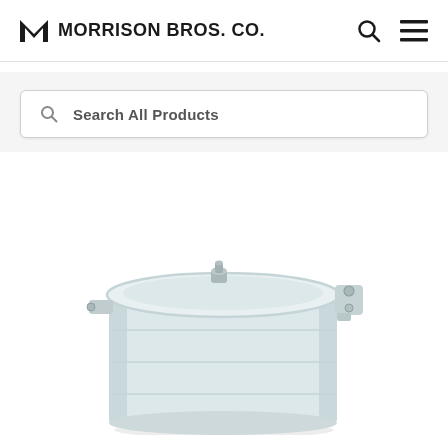MORRISON BROS. CO.
Search All Products
[Figure (photo): A cylindrical white industrial container/tank with a domed lid. The tank has a vent or fitting on top of the lid and a hinged locking mechanism on the right side. The body is cylindrical and white/light gray in color, shown at a slight angle.]